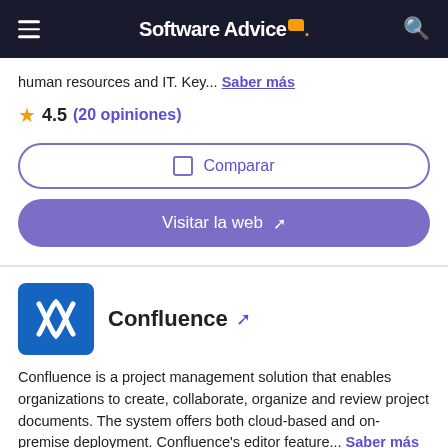Software Advice
human resources and IT. Key... Saber más
4.5 (20 opiniones)
Comparar
Visitar la web
Confluence
Confluence is a project management solution that enables organizations to create, collaborate, organize and review project documents. The system offers both cloud-based and on-premise deployment. Confluence's editor feature... Saber más
4.4 (2,334 opiniones)